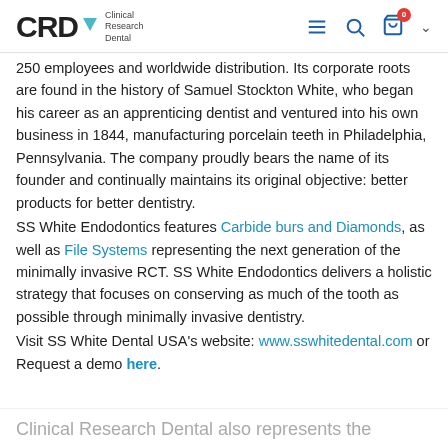CRD Clinical Research Dental
250 employees and worldwide distribution. Its corporate roots are found in the history of Samuel Stockton White, who began his career as an apprenticing dentist and ventured into his own business in 1844, manufacturing porcelain teeth in Philadelphia, Pennsylvania. The company proudly bears the name of its founder and continually maintains its original objective: better products for better dentistry.
SS White Endodontics features Carbide burs and Diamonds, as well as File Systems representing the next generation of the minimally invasive RCT. SS White Endodontics delivers a holistic strategy that focuses on conserving as much of the tooth as possible through minimally invasive dentistry.
Visit SS White Dental USA's website: www.sswhitedental.com or Request a demo here.
Clinical Research Dental also represents the